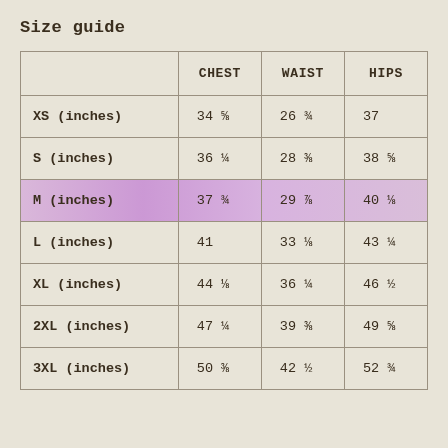Size guide
|  | CHEST | WAIST | HIPS |
| --- | --- | --- | --- |
| XS (inches) | 34 ⅝ | 26 ¾ | 37 |
| S (inches) | 36 ¼ | 28 ⅜ | 38 ⅝ |
| M (inches) | 37 ¾ | 29 ⅞ | 40 ⅛ |
| L (inches) | 41 | 33 ⅛ | 43 ¼ |
| XL (inches) | 44 ⅛ | 36 ¼ | 46 ½ |
| 2XL (inches) | 47 ¼ | 39 ⅜ | 49 ⅝ |
| 3XL (inches) | 50 ⅜ | 42 ½ | 52 ¾ |